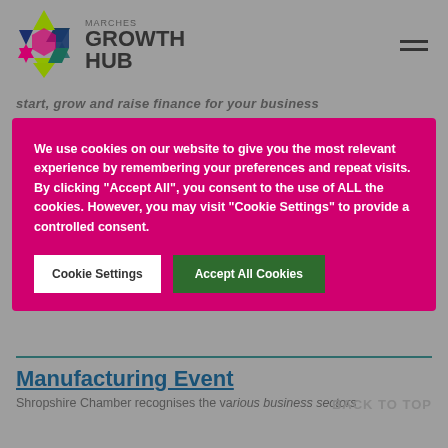[Figure (logo): Marches Growth Hub logo with multicolored hexagon star icon and text 'MARCHES GROWTH HUB']
start, grow and raise finance for your business
We use cookies on our website to give you the most relevant experience by remembering your preferences and repeat visits. By clicking "Accept All", you consent to the use of ALL the cookies. However, you may visit "Cookie Settings" to provide a controlled consent.
Cookie Settings
Accept All Cookies
Manufacturing Event
BACK TO TOP
Shropshire Chamber recognises the various business sectors